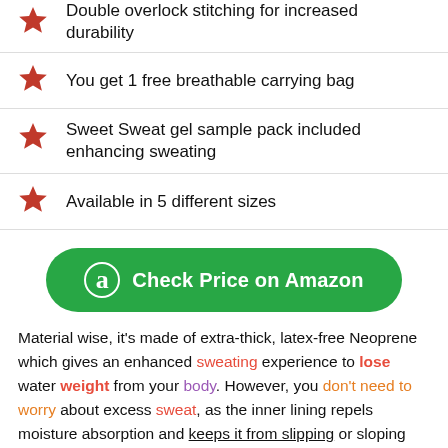Double overlock stitching for increased durability
You get 1 free breathable carrying bag
Sweet Sweat gel sample pack included enhancing sweating
Available in 5 different sizes
[Figure (other): Green rounded button with Amazon logo and text 'Check Price on Amazon']
Material wise, it's made of extra-thick, latex-free Neoprene which gives an enhanced sweating experience to lose water weight from your body. However, you don't need to worry about excess sweat, as the inner lining repels moisture absorption and keeps it from slipping or sloping during exercise.